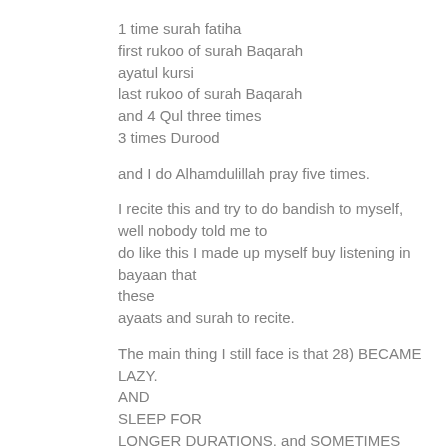1 time surah fatiha
first rukoo of surah Baqarah
ayatul kursi
last rukoo of surah Baqarah
and 4 Qul three times
3 times Durood
and I do Alhamdulillah pray five times.
I recite this and try to do bandish to myself, well nobody told me to do like this I made up myself buy listening in bayaan that these ayaats and surah to recite.
The main thing I still face is that 28) BECAME LAZY. AND SLEEP FOR LONGER DURATIONS. and SOMETIMES SAW SNAKES, this is very rare i have